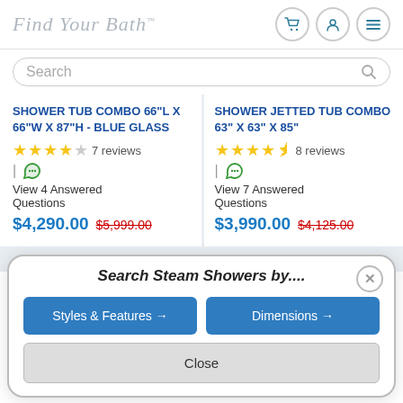Find Your Bath
Search
SHOWER TUB COMBO 66"L X 66"W X 87"H - BLUE GLASS
★★★★☆ 7 reviews
View 4 Answered Questions
$4,290.00  $5,999.00
SHOWER JETTED TUB COMBO 63" X 63" X 85"
★★★★½ 8 reviews
View 7 Answered Questions
$3,990.00  $4,125.00
Search Steam Showers by....
Styles & Features →
Dimensions →
Close